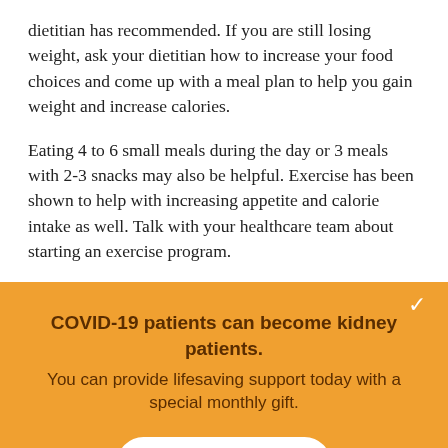dietitian has recommended. If you are still losing weight, ask your dietitian how to increase your food choices and come up with a meal plan to help you gain weight and increase calories.
Eating 4 to 6 small meals during the day or 3 meals with 2-3 snacks may also be helpful. Exercise has been shown to help with increasing appetite and calorie intake as well. Talk with your healthcare team about starting an exercise program.
COVID-19 patients can become kidney patients. You can provide lifesaving support today with a special monthly gift.
Donate Now